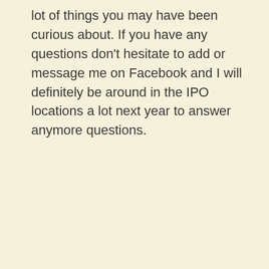lot of things you may have been curious about. If you have any questions don't hesitate to add or message me on Facebook and I will definitely be around in the IPO locations a lot next year to answer anymore questions.